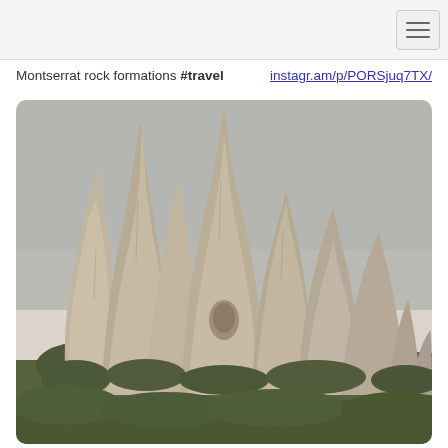Montserrat rock formations #travel   instagr.am/p/PORSjuq7TX/
[Figure (photo): Instagram photo of Montserrat rock formations in Spain — distinctive tall spire-like conglomerate rock pillars in pale grey-beige tones with green shrubs at the base, photographed against a muted grey-blue sky. The image has a vintage/desaturated filter applied. Displayed in a rounded-corner frame.]